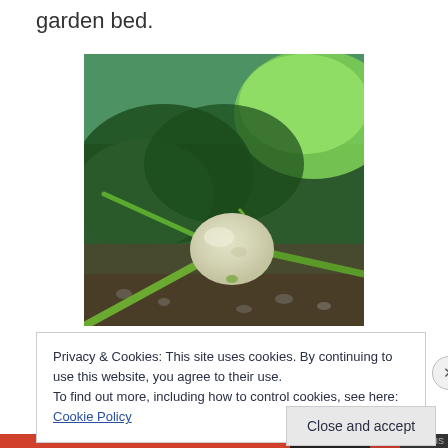garden bed.
[Figure (photo): A small pale/white round squash or pattypan gourd nestled among green vines and large dark green leaves in a garden bed. The squash sits at the center with vine stems radiating outward, surrounded by vegetation and soil.]
Privacy & Cookies: This site uses cookies. By continuing to use this website, you agree to their use.
To find out more, including how to control cookies, see here: Cookie Policy
Close and accept